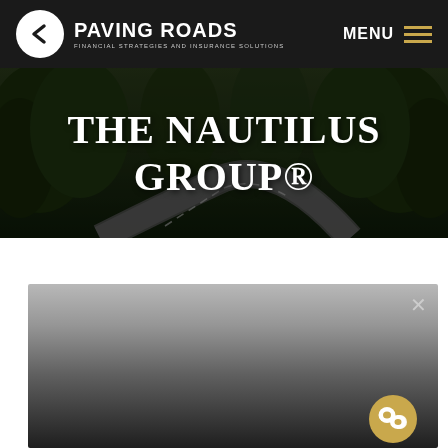[Figure (logo): Paving Roads logo — white circle with arrow icon, company name PAVING ROADS and subtitle FINANCIAL STRATEGIES AND INSURANCE SOLUTIONS]
MENU
[Figure (photo): Aerial photo of a winding road through green forest at dusk, overlaid with large white serif text reading THE NAUTILUS GROUP®]
THE NAUTILUS GROUP®
[Figure (screenshot): A modal/video overlay box with gradient from gray to dark, showing an X close button and a gold chat bubble icon in the bottom right corner]